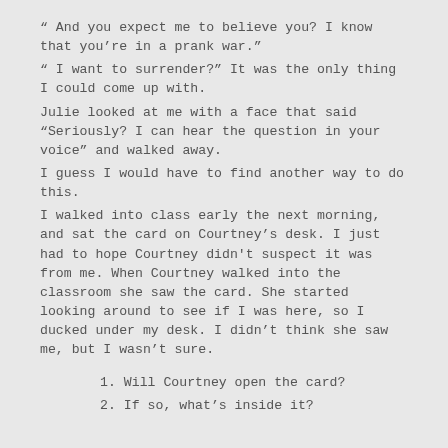" And you expect me to believe you? I know that you're in a prank war."
" I want to surrender?" It was the only thing I could come up with.
Julie looked at me with a face that said "Seriously? I can hear the question in your voice" and walked away.
I guess I would have to find another way to do this.
I walked into class early the next morning, and sat the card on Courtney's desk. I just had to hope Courtney didn't suspect it was from me. When Courtney walked into the classroom she saw the card. She started looking around to see if I was here, so I ducked under my desk. I didn't think she saw me, but I wasn't sure.
1.  Will Courtney open the card?
2.  If so, what's inside it?